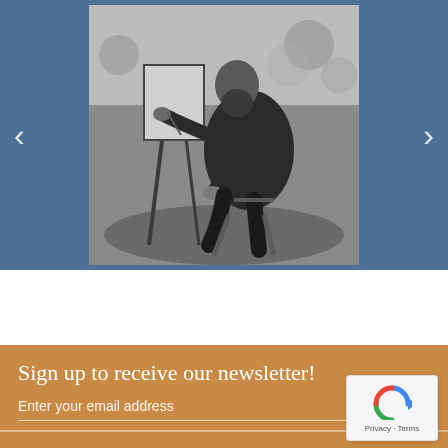[Figure (photo): Black and white photograph of a person sitting outdoors on a folding chair at an easel, painting. The figure is dressed in dark clothing with a beard, viewed from the side. Background shows foliage.]
Sign up to receive our newsletter!
Enter your email address